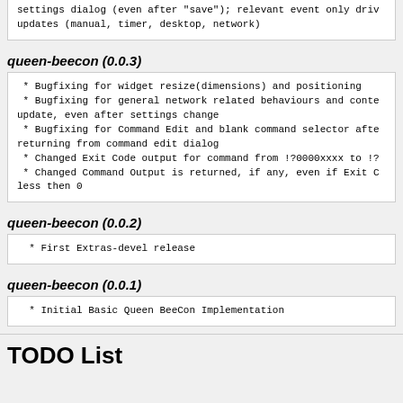settings dialog (even after "save"); relevant event only driv updates (manual, timer, desktop, network)
queen-beecon (0.0.3)
* Bugfixing for widget resize(dimensions) and positioning
 * Bugfixing for general network related behaviours and conte update, even after settings change
 * Bugfixing for Command Edit and blank command selector afte returning from command edit dialog
 * Changed Exit Code output for command from !?0000xxxx to !?
 * Changed Command Output is returned, if any, even if Exit C less then 0
queen-beecon (0.0.2)
* First Extras-devel release
queen-beecon (0.0.1)
* Initial Basic Queen BeeCon Implementation
TODO List